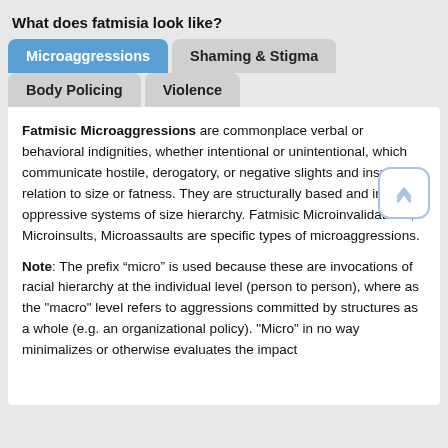What does fatmisia look like?
Microaggressions
Shaming & Stigma
Body Policing
Violence
Fatmisic Microaggressions are commonplace verbal or behavioral indignities, whether intentional or unintentional, which communicate hostile, derogatory, or negative slights and insults in relation to size or fatness. They are structurally based and invoke oppressive systems of size hierarchy. Fatmisic Microinvalidations, Microinsults, Microassaults are specific types of microaggressions.

Note: The prefix “micro” is used because these are invocations of racial hierarchy at the individual level (person to person), where as the "macro" level refers to aggressions committed by structures as a whole (e.g. an organizational policy). "Micro" in no way minimalizes or otherwise evaluates the impact